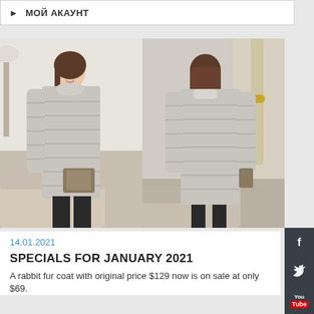МОЙ АКАУНТ
[Figure (photo): Two photos of a woman wearing a grey rabbit fur coat — front view (left) and back view (right). The coat is long, light grey, with horizontal seam lines. Left photo shows model seated on a couch holding a Louis Vuitton bag. Right photo shows the back view of the coat.]
14.01.2021
SPECIALS FOR JANUARY 2021
A rabbit fur coat with original price $129 now is on sale at only $69.